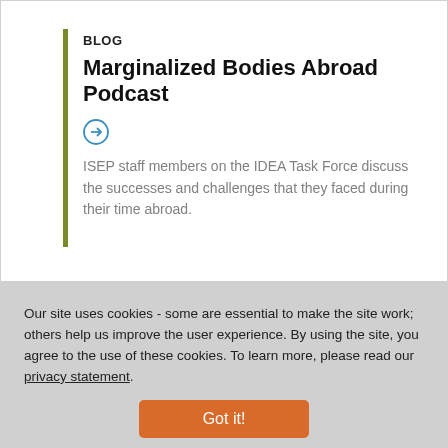BLOG
Marginalized Bodies Abroad Podcast
ISEP staff members on the IDEA Task Force discuss the successes and challenges that they faced during their time abroad.
Our site uses cookies - some are essential to make the site work; others help us improve the user experience. By using the site, you agree to the use of these cookies. To learn more, please read our privacy statement.